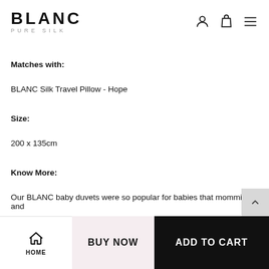BLANC PURE SILK
Matches with:
BLANC Silk Travel Pillow - Hope
Size:
200 x 135cm
Know More:
Our BLANC baby duvets were so popular for babies that mommies and
HOME
BUY NOW
ADD TO CART